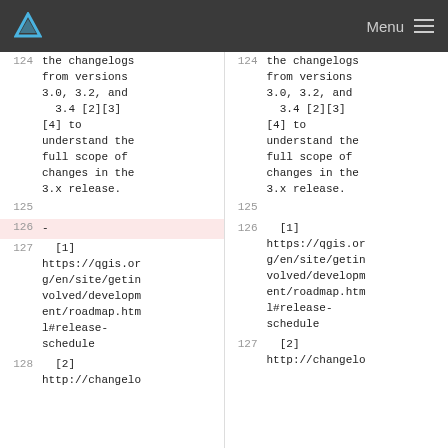Menu
the changelogs from versions 3.0, 3.2, and 3.4 [2][3] [4] to understand the full scope of changes in the 3.x release.
[1] https://qgis.org/en/site/getinvolved/development/roadmap.html#release-schedule
[2] http://changelo